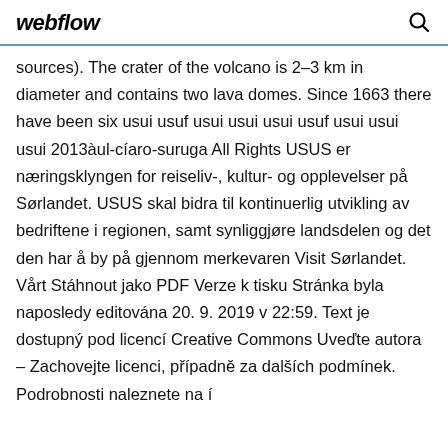webflow
sources). The crater of the volcano is 2–3 km in diameter and contains two lava domes. Since 1663 there have been six usui usuf usui usui usui usuf usui usui usui 2013àul-cíaro-suruga All Rights USUS er næringsklyngen for reiseliv-, kultur- og opplevelser på Sørlandet. USUS skal bidra til kontinuerlig utvikling av bedriftene i regionen, samt synliggjøre landsdelen og det den har å by på gjennom merkevaren Visit Sørlandet. Vårt Stáhnout jako PDF Verze k tisku Stránka byla naposledy editována 20. 9. 2019 v 22:59. Text je dostupný pod licencí Creative Commons Uveďte autora – Zachovejte licenci, případně za dalších podmínek. Podrobnosti naleznete na í